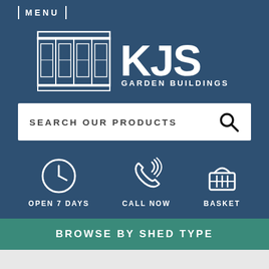MENU
[Figure (logo): KJS Garden Buildings logo with a building outline icon on the left and large white KJS text with GARDEN BUILDINGS below it on the right, on a dark blue background]
SEARCH OUR PRODUCTS
[Figure (infographic): Three icons on dark blue background: a clock icon labeled OPEN 7 DAYS, a phone icon labeled CALL NOW, and a basket icon labeled BASKET]
BROWSE BY SHED TYPE